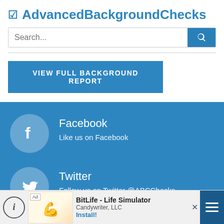AdvancedBackgroundChecks
Search...
VIEW FULL BACKGROUND REPORT
[Figure (logo): Facebook circle icon with 'f' logo]
Facebook
Like us on Facebook
[Figure (logo): Twitter circle icon with bird logo]
Twitter
Follow us on Twitter @ABCChecks
BitLife - Life Simulator
Candywriter, LLC
Install!